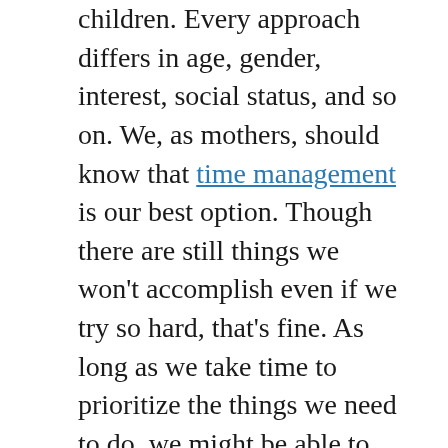children. Every approach differs in age, gender, interest, social status, and so on. We, as mothers, should know that time management is our best option. Though there are still things we won't accomplish even if we try so hard, that's fine. As long as we take time to prioritize the things we need to do, we might be able to multi-task for the sake of the needs of our children. That's significantly reassuring compared to doing nothing at all.
Psychologist Carl Pickhardt, PhD, said that it's a common mistake for parents to sacrifice all their time and energy when they become parents. However, he said, "To sacrifice self-care and marriage for the sake of the child makes everybody unhappy sooner or later."